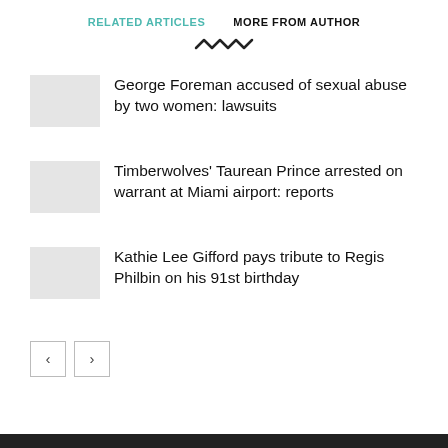RELATED ARTICLES   MORE FROM AUTHOR
George Foreman accused of sexual abuse by two women: lawsuits
Timberwolves' Taurean Prince arrested on warrant at Miami airport: reports
Kathie Lee Gifford pays tribute to Regis Philbin on his 91st birthday